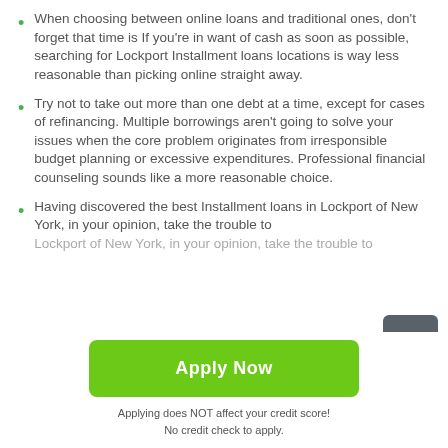When choosing between online loans and traditional ones, don't forget that time is If you're in want of cash as soon as possible, searching for Lockport Installment loans locations is way less reasonable than picking online straight away.
Try not to take out more than one debt at a time, except for cases of refinancing. Multiple borrowings aren't going to solve your issues when the core problem originates from irresponsible budget planning or excessive expenditures. Professional financial counseling sounds like a more reasonable choice.
Having discovered the best Installment loans in Lockport of New York, in your opinion, take the trouble to
[Figure (other): Scroll-to-top button: dark grey square with upward arrow icon]
Apply Now
Applying does NOT affect your credit score!
No credit check to apply.